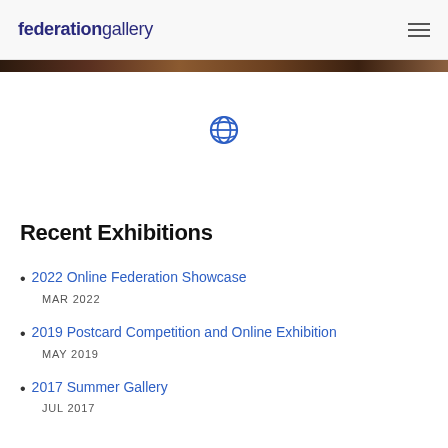federationgallery
[Figure (illustration): Globe/world icon in blue, representing online presence]
Recent Exhibitions
2022 Online Federation Showcase
MAR 2022
2019 Postcard Competition and Online Exhibition
MAY 2019
2017 Summer Gallery
JUL 2017